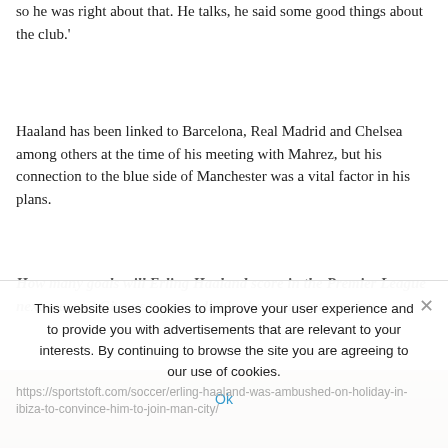so he was right about that. He talks, he said some good things about the club.'
Haaland has been linked to Barcelona, Real Madrid and Chelsea among others at the time of his meeting with Mahrez, but his connection to the blue side of Manchester was a vital factor in his plans.
How many goals will Erling Haaland score in the Premier League next season? Give us your verdict in the comments section
https://sportstoft.com/soccer/erling-haaland-was-ambushed-on-holiday-in-ibiza-to-convince-him-to-join-man-city/
This website uses cookies to improve your user experience and to provide you with advertisements that are relevant to your interests. By continuing to browse the site you are agreeing to our use of cookies.
Ok